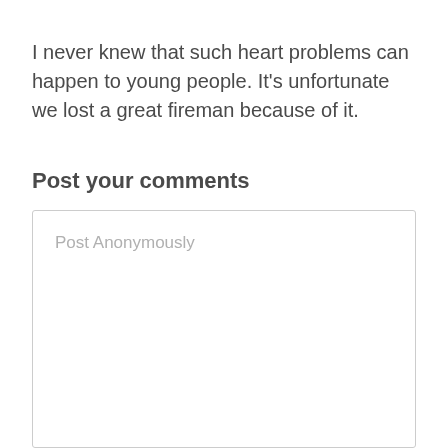I never knew that such heart problems can happen to young people. It's unfortunate we lost a great fireman because of it.
Post your comments
Post Anonymously